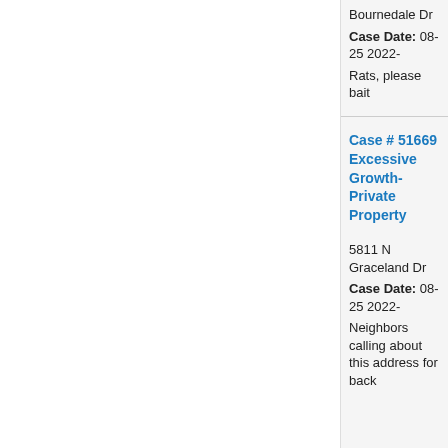Bournedale Dr
Case Date: 08-25 2022-
Rats, please bait
Case # 51669 Excessive Growth-Private Property
5811 N Graceland Dr
Case Date: 08-25 2022-
Neighbors calling about this address for back